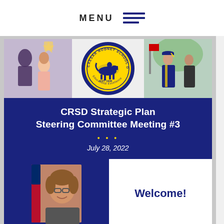MENU
[Figure (screenshot): CRSD Strategic Plan Steering Committee Meeting #3 presentation slide with school district logo and photos. Blue banner with title and date July 28, 2022. Lower half shows welcome slide with a woman's photo on blue background and 'Welcome!' text.]
View Full Site